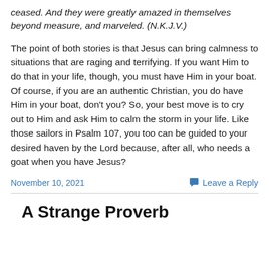ceased. And they were greatly amazed in themselves beyond measure, and marveled. (N.K.J.V.)
The point of both stories is that Jesus can bring calmness to situations that are raging and terrifying. If you want Him to do that in your life, though, you must have Him in your boat. Of course, if you are an authentic Christian, you do have Him in your boat, don't you? So, your best move is to cry out to Him and ask Him to calm the storm in your life. Like those sailors in Psalm 107, you too can be guided to your desired haven by the Lord because, after all, who needs a goat when you have Jesus?
November 10, 2021
Leave a Reply
A Strange Proverb